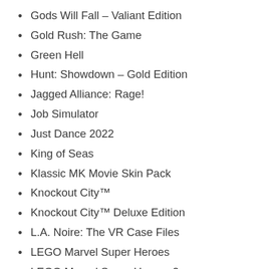Gods Will Fall – Valiant Edition
Gold Rush: The Game
Green Hell
Hunt: Showdown – Gold Edition
Jagged Alliance: Rage!
Job Simulator
Just Dance 2022
King of Seas
Klassic MK Movie Skin Pack
Knockout City™
Knockout City™ Deluxe Edition
L.A. Noire: The VR Case Files
LEGO Marvel Super Heroes
LEGO Marvel Super Heroes 2
LEGO Marvel Super Heroes 2 – Season Pass
Let's Sing 2022
Little Nightmares II PS4 & PS5